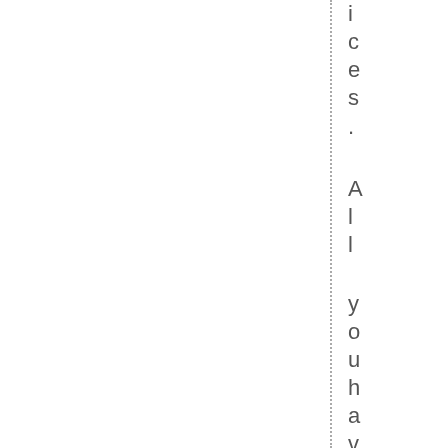ices. All you have to do to check up